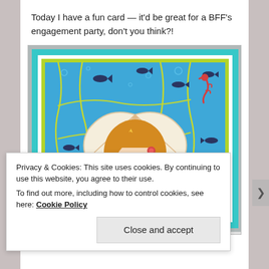Today I have a fun card — it'd be great for a BFF's engagement party, don't you think?!
[Figure (photo): A handmade greeting card featuring an anime-style mermaid girl emerging from a large white scallop shell, with blue ocean background, fish, seaweed, coral, and bubbles.]
Privacy & Cookies: This site uses cookies. By continuing to use this website, you agree to their use.
To find out more, including how to control cookies, see here: Cookie Policy
Close and accept